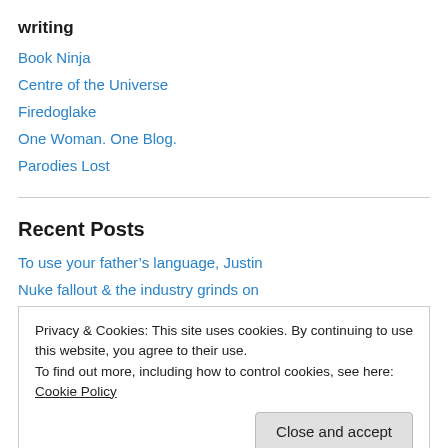writing
Book Ninja
Centre of the Universe
Firedoglake
One Woman. One Blog.
Parodies Lost
Recent Posts
To use your father’s language, Justin
Nuke fallout & the industry grinds on
Privacy & Cookies: This site uses cookies. By continuing to use this website, you agree to their use.
To find out more, including how to control cookies, see here: Cookie Policy
Close and accept
Archives